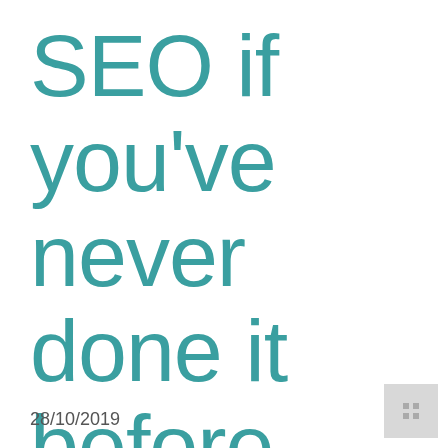SEO if you've never done it before
28/10/2019